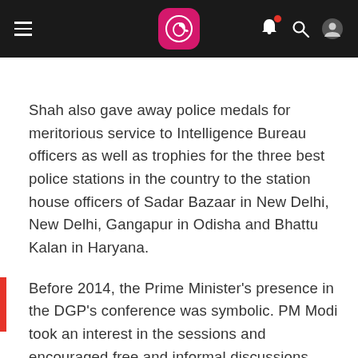News app navigation bar with logo, hamburger menu, bell notification, search, and profile icons
Shah also gave away police medals for meritorious service to Intelligence Bureau officers as well as trophies for the three best police stations in the country to the station house officers of Sadar Bazaar in New Delhi, New Delhi, Gangapur in Odisha and Bhattu Kalan in Haryana.
Before 2014, the Prime Minister's presence in the DGP's conference was symbolic. PM Modi took an interest in the sessions and encouraged free and informal discussions. Police officials get a chance to directly brief the PM on key policing and internal security issues.